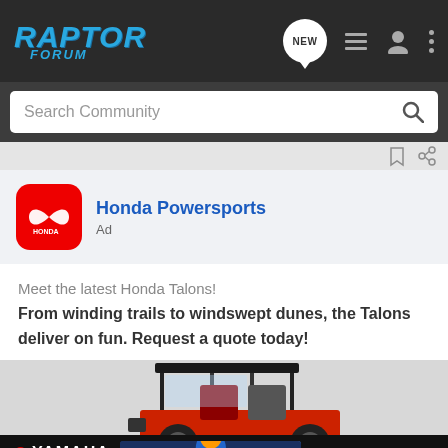RAPTOR FORUM — Navigation header with NEW, list, user, and menu icons
Search Community
[Figure (screenshot): Thin separator bar with bookmark and share icons]
[Figure (logo): Honda Powersports ad card with Honda logo (red rounded square with wing icon), title 'Honda Powersports', label 'Ad']
Meet the latest Honda Talons!
From winding trails to windswept dunes, the Talons deliver on fun. Request a quote today!
[Figure (photo): Honda Talon UTV side-by-side vehicle with black roll cage and roof, red seats, photographed from the side/rear angle. Below it is a Yamaha ad banner showing '2021 YFZ®450R' with a blue ATV rider photo and a red CLICK HERE button.]